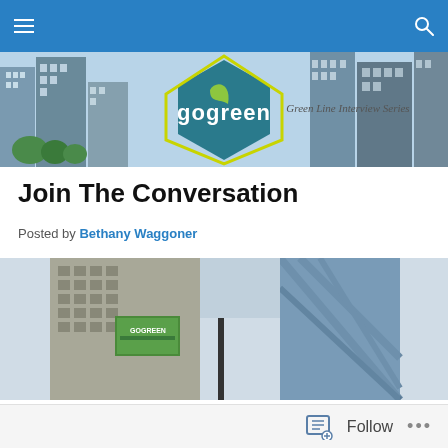Navigation bar with menu and search icons
[Figure (illustration): Banner image showing city skyline with a teal hexagon logo reading 'gogreen' with a leaf, yellow diamond border, and handwritten text 'Green Line Interview Series']
Join The Conversation
Posted by Bethany Waggoner
[Figure (photo): Street-level urban photo looking up at tall city buildings with a green billboard/sign visible between them]
Follow ...